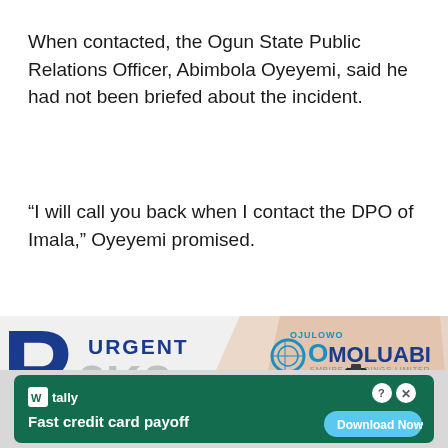When contacted, the Ogun State Public Relations Officer, Abimbola Oyeyemi, said he had not been briefed about the incident.
“I will call you back when I contact the DPO of Imala,” Oyeyemi promised.
[Figure (advertisement): Advertisement banner showing a large blue letter P, text 'URGENT' and '2K?' in blue and grey, and Ojulowo Omoluabi Empire Holdings Limited logo with land/property imagery and 'START' text.]
[Figure (advertisement): Tally app advertisement on dark green background with tally icon, text 'Fast credit card payoff', and 'Download Now' button with arrow.]